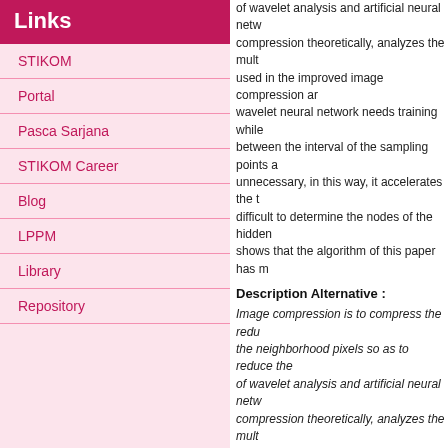Links
STIKOM
Portal
Pasca Sarjana
STIKOM Career
Blog
LPPM
Library
Repository
of wavelet analysis and artificial neural netw... compression theoretically, analyzes the mult... used in the improved image compression ar... wavelet neural network needs training while between the interval of the sampling points a... unnecessary, in this way, it accelerates the t... difficult to determine the nodes of the hidden... shows that the algorithm of this paper has m...
Description Alternative :
Image compression is to compress the redu... the neighborhood pixels so as to reduce the of wavelet analysis and artificial neural netw... compression theoretically, analyzes the mult... used in the improved image compression ar... wavelet neural network needs training while between the interval of the sampling points a... unnecessary, in this way, it accelerates the t... difficult to determine the nodes of the hidden... shows that the algorithm of this paper has m...
Give Comment ?#(0) | Bookmark
| Property |  |
| --- | --- |
| Publisher ID | gdlhub |
| Organization | Telkomnika |
| Contact Name | Herti Yani, |
| Address | Jln. Jende |
| City | Jambi |